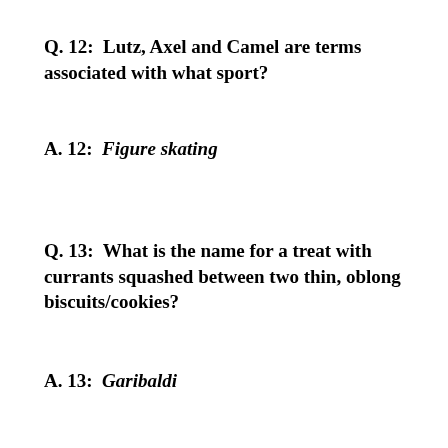Q. 12:  Lutz, Axel and Camel are terms associated with what sport?
A. 12:  Figure skating
Q. 13:  What is the name for a treat with currants squashed between two thin, oblong biscuits/cookies?
A. 13:  Garibaldi